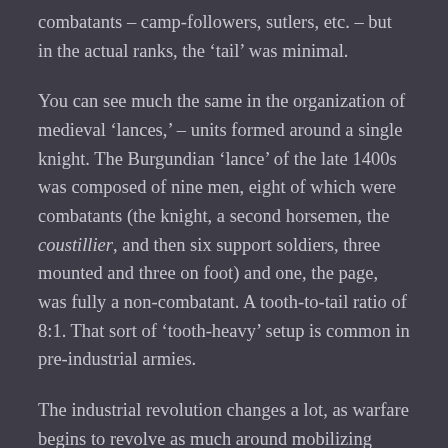combatants – camp-followers, sutlers, etc. – but in the actual ranks, the 'tail' was minimal.
You can see much the same in the organization of medieval 'lances,' – units formed around a single knight. The Burgundian 'lance' of the late 1400s was composed of nine men, eight of which were combatants (the knight, a second horsemen, the coustillier, and then six support soldiers, three mounted and three on foot) and one, the page, was fully a non-combatant. A tooth-to-tail ratio of 8:1. That sort of 'tooth-heavy' setup is common in pre-industrial armies.
The industrial revolution changes a lot, as warfare begins to revolve as much around mobilizing firepower, typically in the form of mass artillery firepower as in